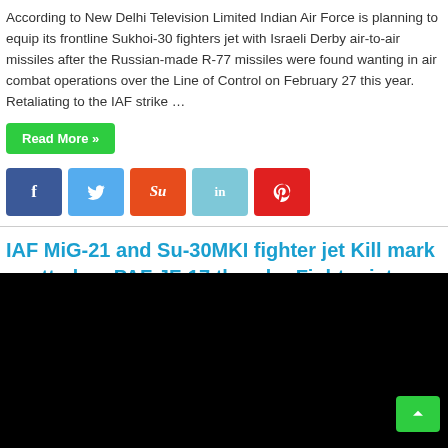According to New Delhi Television Limited Indian Air Force is planning to equip its frontline Sukhoi-30 fighters jet with Israeli Derby air-to-air missiles after the Russian-made R-77 missiles were found wanting in air combat operations over the Line of Control on February 27 this year. Retaliating to the IAF strike …
Read More »
[Figure (other): Social media share buttons: Facebook (blue), Twitter (light blue), StumbleUpon (orange-red), LinkedIn (light blue), Pinterest (red)]
IAF MiG-21 and Su-30MKI fighter jet Kill mark spotted on PAF JF-17 thunder Fighter jets
May 18, 2019   Air
[Figure (photo): Black rectangle representing a video or image area]